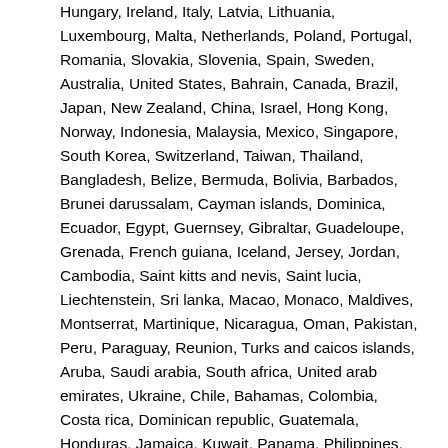Hungary, Ireland, Italy, Latvia, Lithuania, Luxembourg, Malta, Netherlands, Poland, Portugal, Romania, Slovakia, Slovenia, Spain, Sweden, Australia, United States, Bahrain, Canada, Brazil, Japan, New Zealand, China, Israel, Hong Kong, Norway, Indonesia, Malaysia, Mexico, Singapore, South Korea, Switzerland, Taiwan, Thailand, Bangladesh, Belize, Bermuda, Bolivia, Barbados, Brunei darussalam, Cayman islands, Dominica, Ecuador, Egypt, Guernsey, Gibraltar, Guadeloupe, Grenada, French guiana, Iceland, Jersey, Jordan, Cambodia, Saint kitts and nevis, Saint lucia, Liechtenstein, Sri lanka, Macao, Monaco, Maldives, Montserrat, Martinique, Nicaragua, Oman, Pakistan, Peru, Paraguay, Reunion, Turks and caicos islands, Aruba, Saudi arabia, South africa, United arab emirates, Ukraine, Chile, Bahamas, Colombia, Costa rica, Dominican republic, Guatemala, Honduras, Jamaica, Kuwait, Panama, Philippines, Qatar, El salvador, Trinidad and tobago, Uruguay, Viet nam.